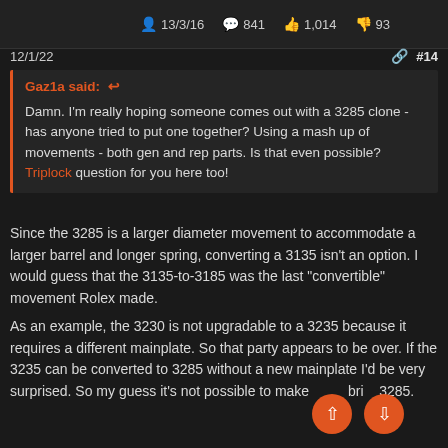13/3/16   841   1,014   93
12/1/22   #14
Gaz1a said: ↵

Damn. I'm really hoping someone comes out with a 3285 clone - has anyone tried to put one together? Using a mash up of movements - both gen and rep parts. Is that even possible? Triplock question for you here too!
Since the 3285 is a larger diameter movement to accommodate a larger barrel and longer spring, converting a 3135 isn't an option. I would guess that the 3135-to-3185 was the last "convertible" movement Rolex made.
As an example, the 3230 is not upgradable to a 3235 because it requires a different mainplate. So that party appears to be over. If the 3235 can be converted to 3285 without a new mainplate I'd be very surprised. So my guess it's not possible to make a hybrid 3285.